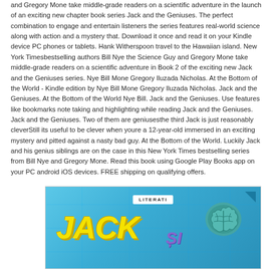and Gregory Mone take middle-grade readers on a scientific adventure in the launch of an exciting new chapter book series Jack and the Geniuses. The perfect combination to engage and entertain listeners the series features real-world science along with action and a mystery that. Download it once and read it on your Kindle device PC phones or tablets. Hank Witherspoon travel to the Hawaiian island. New York Timesbestselling authors Bill Nye the Science Guy and Gregory Mone take middle-grade readers on a scientific adventure in Book 2 of the exciting new Jack and the Geniuses series. Nye Bill Mone Gregory Iluzada Nicholas. At the Bottom of the World - Kindle edition by Nye Bill Mone Gregory Iluzada Nicholas. Jack and the Geniuses. At the Bottom of the World Nye Bill. Jack and the Geniuses. Use features like bookmarks note taking and highlighting while reading Jack and the Geniuses. Jack and the Geniuses. Two of them are geniusesthe third Jack is just reasonably cleverStill its useful to be clever when youre a 12-year-old immersed in an exciting mystery and pitted against a nasty bad guy. At the Bottom of the World. Luckily Jack and his genius siblings are on the case in this New York Times bestselling series from Bill Nye and Gregory Mone. Read this book using Google Play Books app on your PC android iOS devices. FREE shipping on qualifying offers.
[Figure (illustration): Book cover of 'Jack si' (Jack and the Geniuses Romanian edition) showing large yellow italic text 'JACK' and purple 'SI' on a blue background with a brain illustration in teal/green on the right and a white Literati badge at the top center.]